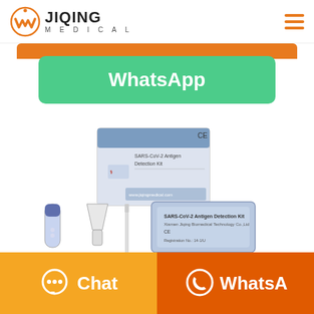[Figure (logo): Jiqing Medical logo with orange W icon and JIQING MEDICAL text]
[Figure (screenshot): Orange button (partially visible top) and green WhatsApp button]
[Figure (photo): SARS-CoV-2 Antigen Detection Kit product photo showing box, test tube, funnel, swab, and foil packet]
[Figure (infographic): Bottom navigation bar with orange Chat button (left) and dark orange WhatsApp button (right)]